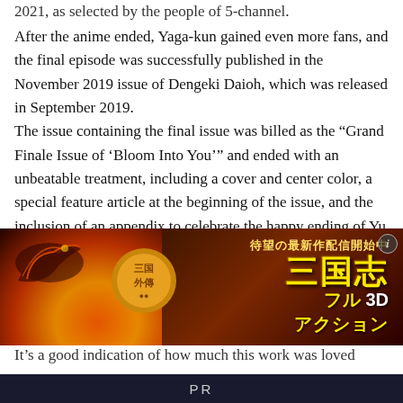2021, as selected by the people of 5-channel.
After the anime ended, Yaga-kun gained even more fans, and the final episode was successfully published in the November 2019 issue of Dengeki Daioh, which was released in September 2019.
The issue containing the final issue was billed as the “Grand Finale Issue of ‘Bloom Into You’” and ended with an unbeatable treatment, including a cover and center color, a special feature article at the beginning of the issue, and the inclusion of an appendix to celebrate the happy ending of Yu Koito and Nanami Toko.
It’s a good indication of how much this work was loved
[Figure (screenshot): Advertisement banner for a mobile game featuring Japanese text. The banner shows fiery visual effects on the left side with a dark background, and on the right side shows Japanese characters including 三国志 (Sangokushi/Three Kingdoms) with text indicating a new game release, 待望の最新作配信開始中 (Highly anticipated new title now streaming), フル3Dアクション (Full 3D Action) in gold and yellow text on a dark background.]
PR